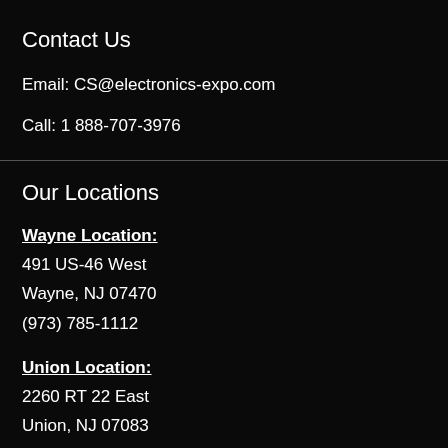Contact Us
Email: CS@electronics-expo.com
Call: 1 888-707-3976
Our Locations
Wayne Location:
491 US-46 West
Wayne, NJ 07470
(973) 785-1112
Union Location:
2260 RT 22 East
Union, NJ 07083
(908) 687-1009